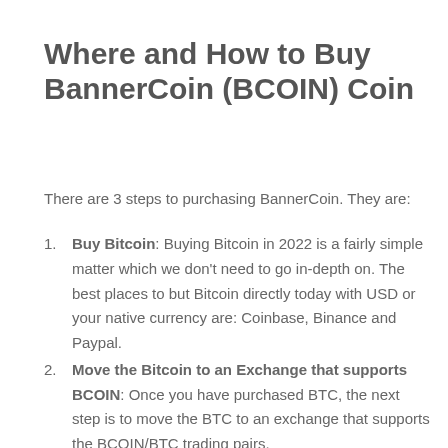Where and How to Buy BannerCoin (BCOIN) Coin
There are 3 steps to purchasing BannerCoin. They are:
Buy Bitcoin: Buying Bitcoin in 2022 is a fairly simple matter which we don't need to go in-depth on. The best places to but Bitcoin directly today with USD or your native currency are: Coinbase, Binance and Paypal.
Move the Bitcoin to an Exchange that supports BCOIN: Once you have purchased BTC, the next step is to move the BTC to an exchange that supports the BCOIN/BTC trading pairs.